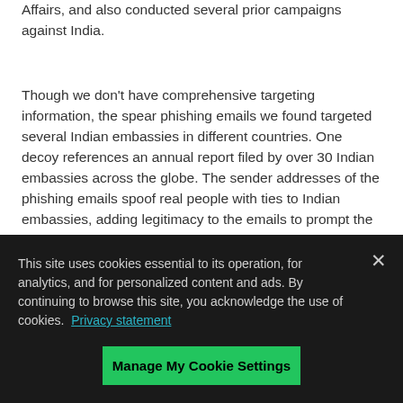Affairs, and also conducted several prior campaigns against India.
Though we don't have comprehensive targeting information, the spear phishing emails we found targeted several Indian embassies in different countries. One decoy references an annual report filed by over 30 Indian embassies across the globe. The sender addresses of the phishing emails spoof real people with ties to Indian embassies, adding legitimacy to the emails to prompt the recipients to open the attached file. Also noteworthy, the actors are exploiting a relatively new vulnerability in their attacks with TidePool, which is detailed below.
This site uses cookies essential to its operation, for analytics, and for personalized content and ads. By continuing to browse this site, you acknowledge the use of cookies. Privacy statement
Manage My Cookie Settings